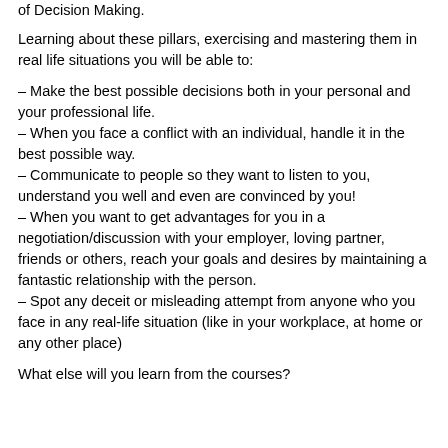of Decision Making.
Learning about these pillars, exercising and mastering them in real life situations you will be able to:
– Make the best possible decisions both in your personal and your professional life.
– When you face a conflict with an individual, handle it in the best possible way.
– Communicate to people so they want to listen to you, understand you well and even are convinced by you!
– When you want to get advantages for you in a negotiation/discussion with your employer, loving partner, friends or others, reach your goals and desires by maintaining a fantastic relationship with the person.
– Spot any deceit or misleading attempt from anyone who you face in any real-life situation (like in your workplace, at home or any other place)
What else will you learn from the courses?